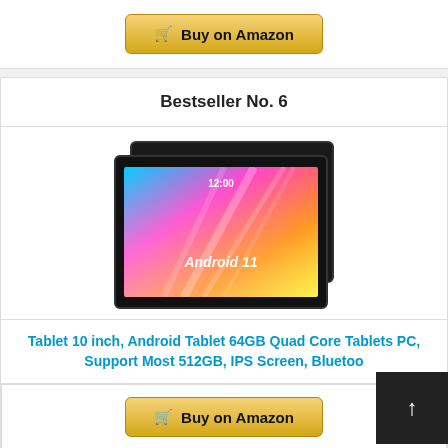[Figure (other): Buy on Amazon button (top)]
Bestseller No. 6
[Figure (photo): Android 11 tablet shown from front and back. Front screen shows colorful gradient wallpaper with 'Android 11' text and time display.]
Tablet 10 inch, Android Tablet 64GB Quad Core Tablets PC, Support Most 512GB, IPS Screen, Bluetoo
[Figure (other): Buy on Amazon button (bottom)]